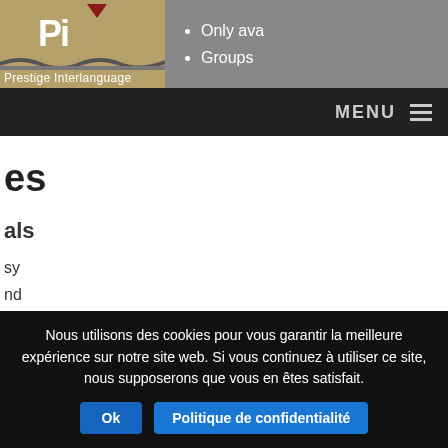[Figure (logo): Prestige Interlanguage logo with golden PI letters and wavy underline on khaki/tan background]
Only ava...
Groups...
MENU ☰
es
als
sy
nd
Nous utilisons des cookies pour vous garantir la meilleure expérience sur notre site web. Si vous continuez à utiliser ce site, nous supposerons que vous en êtes satisfait.
Ok | Politique de confidentialité